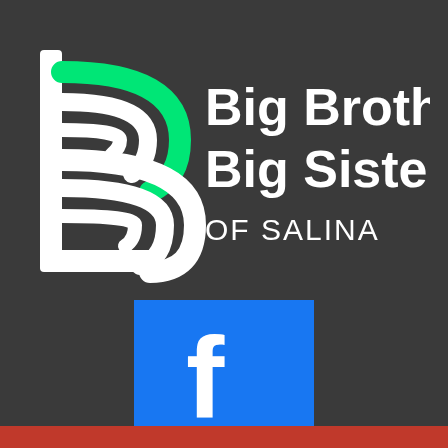[Figure (logo): Big Brothers Big Sisters of Salina logo on dark grey background. Left side shows a stylized 'b' letter outline in white with green arc accent. Right side shows 'Big Brothers Big Sisters' in large white bold text and 'OF SALINA' in smaller white text below.]
[Figure (logo): Facebook logo icon - white lowercase 'f' on blue square background]
[Figure (other): Partially visible red bar at the bottom of the page, likely a button or banner]